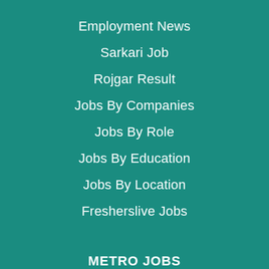Employment News
Sarkari Job
Rojgar Result
Jobs By Companies
Jobs By Role
Jobs By Education
Jobs By Location
Fresherslive Jobs
METRO JOBS